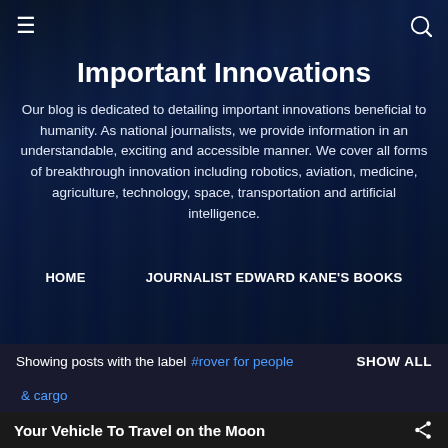≡  🔍
Important Innovations
Our blog is dedicated to detailing important innovations beneficial to humanity. As national journalists, we provide information in an understandable, exciting and accessible manner. We cover all forms of breakthrough innovation including robotics, aviation, medicine, agriculture, technology, space, transportation and artificial intelligence.
HOME    JOURNALIST EDWARD KANE'S BOOKS
Showing posts with the label #rover for people & cargo  SHOW ALL
Your Vehicle To Travel on the Moon